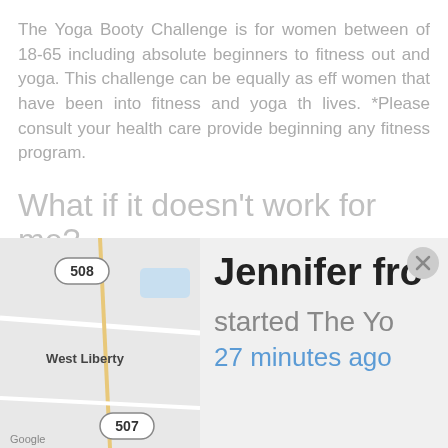The Yoga Booty Challenge is for women between of 18-65 including absolute beginners to fitness out and yoga. This challenge can be equally as eff women that have been into fitness and yoga th lives. *Please consult your health care provide beginning any fitness program.
What if it doesn't work for me?
That's an easy one. Listen, if you are not c
[Figure (map): Google Maps screenshot showing West Liberty area with routes 508 and 507 visible]
Jennifer fro
started The Yo
27 minutes ago